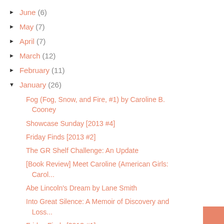► June (6)
► May (7)
► April (7)
► March (12)
► February (11)
▼ January (26)
Fog (Fog, Snow, and Fire, #1) by Caroline B. Cooney
Showcase Sunday [2013 #4]
Friday Finds [2013 #2]
The GR Shelf Challenge: An Update
[Book Review] Meet Caroline (American Girls: Carol...
Abe Lincoln's Dream by Lane Smith
Into Great Silence: A Memoir of Discovery and Loss...
Friday Finds [2013 #1]
The Princess Test by Gail Carson Levine